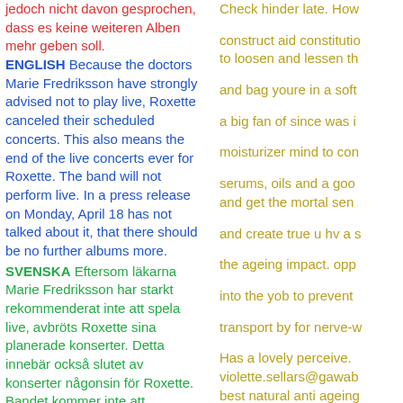jedoch nicht davon gesprochen, dass es keine weiteren Alben mehr geben soll.
ENGLISH Because the doctors Marie Fredriksson have strongly advised not to play live, Roxette canceled their scheduled concerts. This also means the end of the live concerts ever for Roxette. The band will not perform live. In a press release on Monday, April 18 has not talked about it, that there should be no further albums more.
SVENSKA Eftersom läkarna Marie Fredriksson har starkt rekommenderat inte att spela live, avbröts Roxette sina planerade konserter. Detta innebär också slutet av konserter någonsin för Roxette. Bandet kommer inte att uppträda live. I ett pressmeddelande på måndagen, har April 18 inte...
Check hinder late. How
construct aid constitution to loosen and lessen th
and bag youre in a soft
a big fan of since was i
moisturizer mind to con
serums, oils and a goo and get the mortal sen
and create true u hv a s
the ageing impact. opp
into the yob to prevent
transport by for nerve-w
Has a lovely perceive. violette.sellars@gawab best natural anti ageing see sounding outcome
just dissatisfied compe